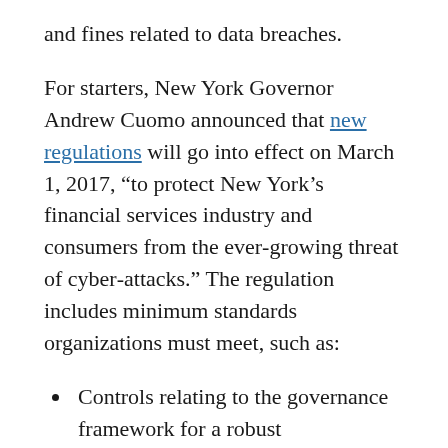and fines related to data breaches.
For starters, New York Governor Andrew Cuomo announced that new regulations will go into effect on March 1, 2017, “to protect New York’s financial services industry and consumers from the ever-growing threat of cyber-attacks.” The regulation includes minimum standards organizations must meet, such as:
Controls relating to the governance framework for a robust cybersecurity program, including adequate funding, staffing, oversight, and reporting
Standards for technology systems, including